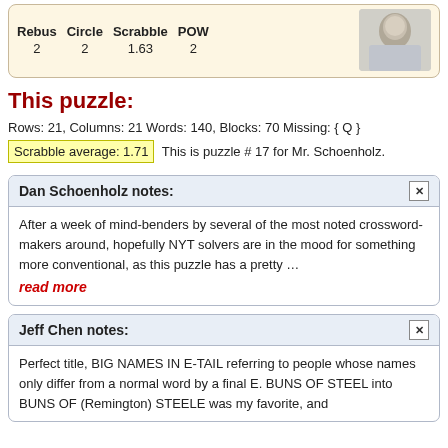| Rebus | Circle | Scrabble | POW |
| --- | --- | --- | --- |
| 2 | 2 | 1.63 | 2 |
This puzzle:
Rows: 21, Columns: 21 Words: 140, Blocks: 70 Missing: { Q }
Scrabble average: 1.71  This is puzzle # 17 for Mr. Schoenholz.
Dan Schoenholz notes:
After a week of mind-benders by several of the most noted crossword-makers around, hopefully NYT solvers are in the mood for something more conventional, as this puzzle has a pretty …
read more
Jeff Chen notes:
Perfect title, BIG NAMES IN E-TAIL referring to people whose names only differ from a normal word by a final E. BUNS OF STEEL into BUNS OF (Remington) STEELE was my favorite, and